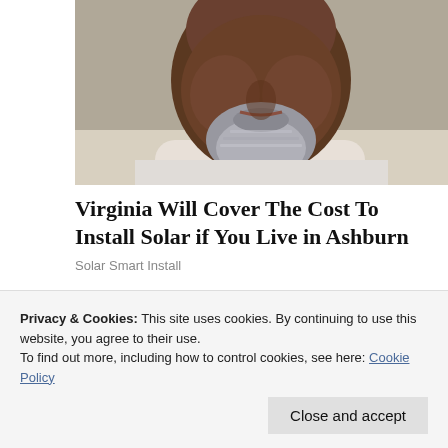[Figure (photo): Close-up photo of an older Black man with grey beard and mustache, wearing a white shirt, looking slightly to the side. The image is cropped to show from the nose down.]
Virginia Will Cover The Cost To Install Solar if You Live in Ashburn
Solar Smart Install
[Figure (photo): Photo of large cylindrical industrial or architectural structures, including blue and grey rounded barrels or modules, with a small white building visible in the background.]
Privacy & Cookies: This site uses cookies. By continuing to use this website, you agree to their use.
To find out more, including how to control cookies, see here: Cookie Policy
Close and accept